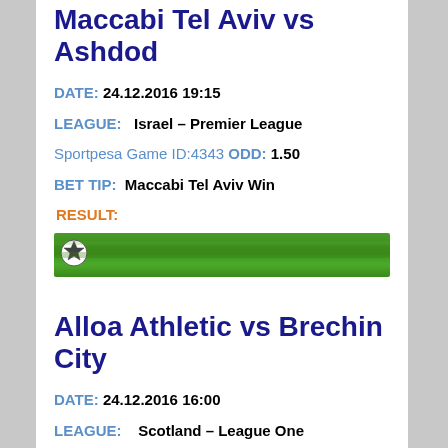Maccabi Tel Aviv vs Ashdod
DATE: 24.12.2016 19:15
LEAGUE:   Israel – Premier League
Sportpesa Game ID:4343 ODD: 1.50
BET TIP:  Maccabi Tel Aviv Win
RESULT:
[Figure (photo): Soccer ball on green grass field]
Alloa Athletic vs Brechin City
DATE: 24.12.2016 16:00
LEAGUE:    Scotland – League One
Sportpesa Game ID:1014 ODD: 1.68